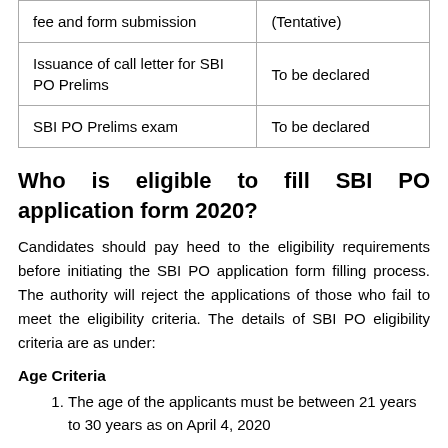| Event | Date |
| --- | --- |
| fee and form submission | (Tentative) |
| Issuance of call letter for SBI PO Prelims | To be declared |
| SBI PO Prelims exam | To be declared |
Who is eligible to fill SBI PO application form 2020?
Candidates should pay heed to the eligibility requirements before initiating the SBI PO application form filling process. The authority will reject the applications of those who fail to meet the eligibility criteria. The details of SBI PO eligibility criteria are as under:
Age Criteria
The age of the applicants must be between 21 years to 30 years as on April 4, 2020